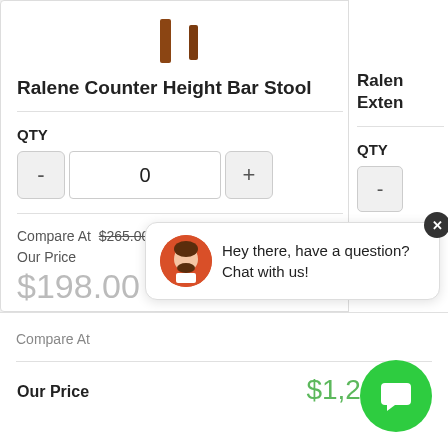[Figure (illustration): Bar stool product image (partial, showing legs)]
Ralene Counter Height Bar Stool
QTY
0
Compare At $265.00
Our Price
$198.00
You Save $67.00
Ralen Exten
QTY
Compa
Our Pr
Compare At
Our Price $1,226.00
Hey there, have a question? Chat with us!